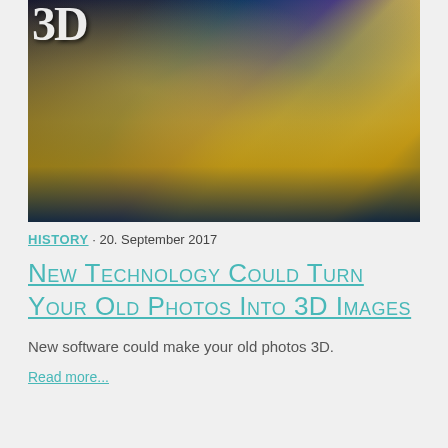[Figure (photo): A double-exposure or composited photograph showing a 3D text element and a historic yellow building facade with architectural columns, overlaid with a dark night sky and city reflections. The number '3D' text is visible in the upper left corner in white serif font.]
HISTORY · 20. September 2017
New Technology Could Turn Your Old Photos Into 3D Images
New software could make your old photos 3D.
Read more...